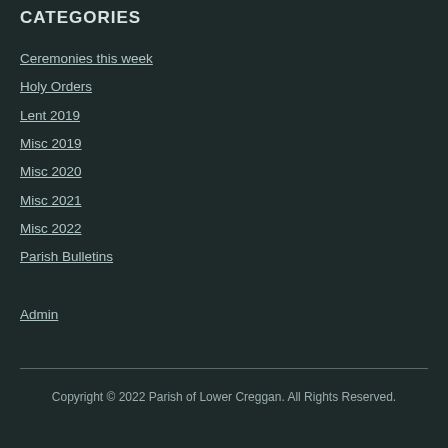CATEGORIES
Ceremonies this week
Holy Orders
Lent 2019
Misc 2019
Misc 2020
Misc 2021
Misc 2022
Parish Bulletins
Admin
Copyright © 2022 Parish of Lower Creggan. All Rights Reserved.